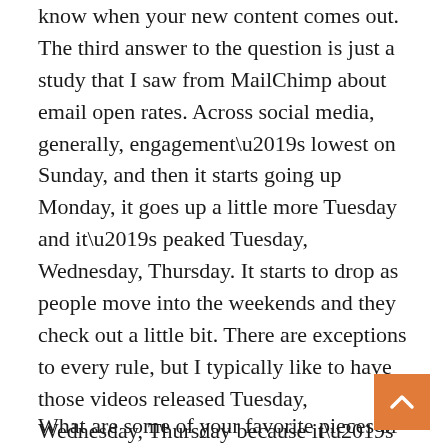know when your new content comes out. The third answer to the question is just a study that I saw from MailChimp about email open rates. Across social media, generally, engagement's lowest on Sunday, and then it starts going up Monday, it goes up a little more Tuesday and it's peaked Tuesday, Wednesday, Thursday. It starts to drop as people move into the weekends and they check out a little bit. There are exceptions to every rule, but I typically like to have those videos released Tuesday, Wednesday, Thursday because it's the height of the people's week before they check out for the weekend.
What are some of your favorite pieces of